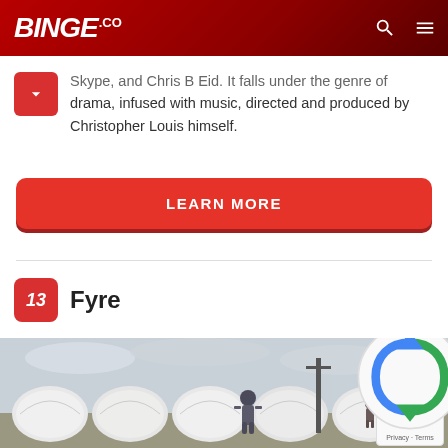BINGE.co
Skype, and Chris B Eid. It falls under the genre of drama, infused with music, directed and produced by Christopher Louis himself.
LEARN MORE
13  Fyre
[Figure (photo): Outdoor scene with rows of white dome tents in a field, a person standing in the foreground, and a utility pole in the background under an overcast sky.]